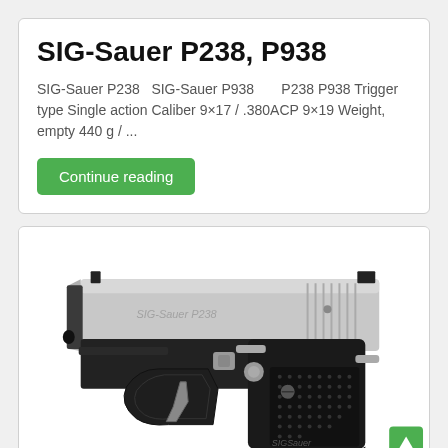SIG-Sauer P238, P938
SIG-Sauer P238   SIG-Sauer P938       P238 P938 Trigger type Single action Caliber 9×17 / .380ACP 9×19 Weight, empty 440 g / ...
Continue reading
[Figure (photo): Side profile photo of a SIG-Sauer P238 pistol with silver/stainless slide and black polymer frame with textured grip panels. The slide has serrations and the SIG-Sauer branding is visible on the grip. A small green scroll-to-top button is visible in the bottom-right corner.]